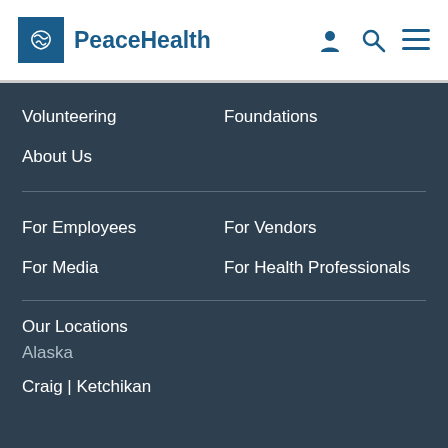[Figure (logo): PeaceHealth logo with dove icon in blue box and blue text]
Volunteering
Foundations
About Us
For Employees
For Vendors
For Media
For Health Professionals
Our Locations
Alaska
Craig | Ketchikan